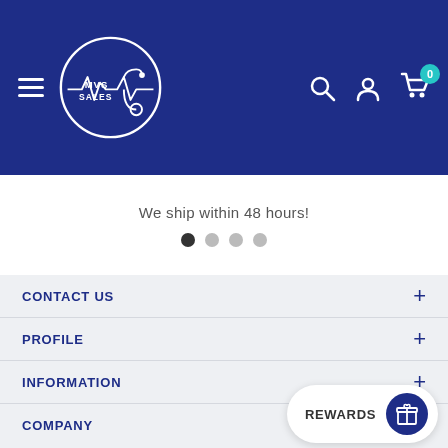[Figure (logo): MVS Sales logo with stethoscope and heartbeat line, white on dark blue circle]
We ship within 48 hours!
CONTACT US
PROFILE
INFORMATION
COMPANY